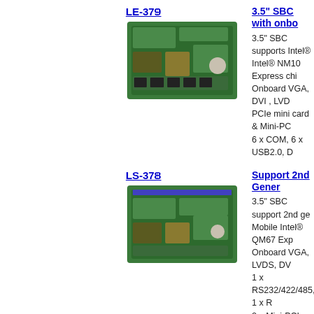LE-379
3.5" SBC with onbo
[Figure (photo): Photo of LE-379 3.5 inch SBC circuit board, green PCB with various chips and connectors]
3.5" SBC supports Intel®
Intel® NM10 Express chi
Onboard VGA, DVI , LVD
PCIe mini card & Mini-PC
6 x COM, 6 x USB2.0, D
LS-378
Support 2nd Gener
[Figure (photo): Photo of LS-378 3.5 inch SBC circuit board, green PCB with chips and connectors]
3.5" SBC support 2nd ge
Mobile Intel® QM67 Exp
Onboard VGA, LVDS, DV
1 x RS232/422/485, 1 x R
2 x Mini-PCIe sockets, P
LS-377
3.5" SBC support I
[Figure (photo): Photo of LS-377 3.5 inch SBC circuit board, green PCB with chips and connectors]
Intel® Core™ i7 / i5 / i3 M
Mobile Intel® QM57 Exp
Support VGA, LVDS, DV
1 x RS232/422/485, 1 x R
Mini-PCIe & Mini-PCI so